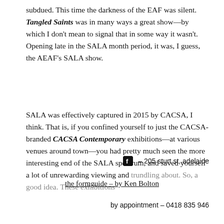subdued. This time the darkness of the EAF was silent. Tangled Saints was in many ways a great show—by which I don't mean to signal that in some way it wasn't. Opening late in the SALA month period, it was, I guess, the AEAF's SALA show.
SALA was effectively captured in 2015 by CACSA, I think. That is, if you confined yourself to just the CACSA-branded CACSA Contemporary exhibitions—at various venues around town—you had pretty much seen the more interesting end of the SALA spectrum, and saved yourself a lot of unrewarding viewing and trundling about. So, a good idea. These exhibitions
– 205 sturt st, adelaide
the formguide – by Ken Bolton
by appointment – 0418 835 946